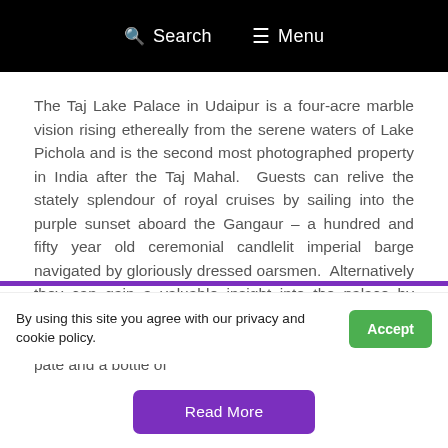Search  Menu
The Taj Lake Palace in Udaipur is a four-acre marble vision rising ethereally from the serene waters of Lake Pichola and is the second most photographed property in India after the Taj Mahal.  Guests can relive the stately splendour of royal cruises by sailing into the purple sunset aboard the Gangaur – a hundred and fifty year old ceremonial candlelit imperial barge navigated by gloriously dressed oarsmen.  Alternatively they can gain a valuable insight into the palace by taking a heritage champagne walk around the palace and grounds, with a royal escort armed with caviar, paté and a bottle of P…
By using this site you agree with our privacy and cookie policy.
Accept
Read More